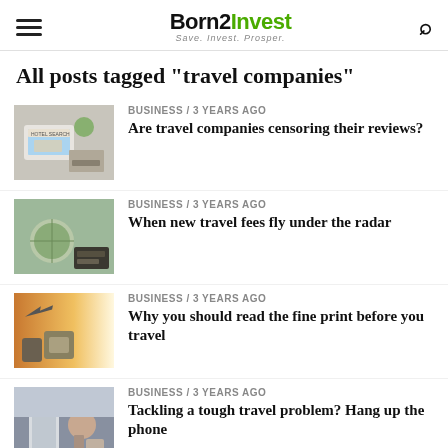Born2Invest — Save. Invest. Prosper.
All posts tagged "travel companies"
BUSINESS / 3 years ago
Are travel companies censoring their reviews?
BUSINESS / 3 years ago
When new travel fees fly under the radar
BUSINESS / 3 years ago
Why you should read the fine print before you travel
BUSINESS / 3 years ago
Tackling a tough travel problem? Hang up the phone